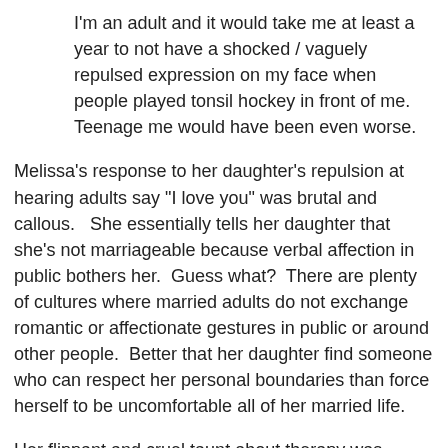I'm an adult and it would take me at least a year to not have a shocked / vaguely repulsed expression on my face when people played tonsil hockey in front of me.  Teenage me would have been even worse.
Melissa's response to her daughter's repulsion at hearing adults say "I love you" was brutal and callous.   She essentially tells her daughter that she's not marriageable because verbal affection in public bothers her.  Guess what?  There are plenty of cultures where married adults do not exchange romantic or affectionate gestures in public or around other people.  Better that her daughter find someone who can respect her personal boundaries than force herself to be uncomfortable all of her married life.
Her flippant and cruel taunt about therapy was childishly hurtful.  Therapy has saved my life and greatly enriched the lives of many people I know.  I'm sure her daughter is in therapy to deal with issues surrounding the loss of her biological family, the loss of her culture, the trauma of an international adoption, and the stress of living with a family of